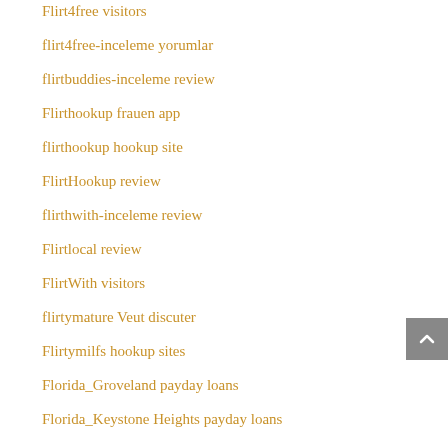Flirt4free visitors
flirt4free-inceleme yorumlar
flirtbuddies-inceleme review
Flirthookup frauen app
flirthookup hookup site
FlirtHookup review
flirthwith-inceleme review
Flirtlocal review
FlirtWith visitors
flirtymature Veut discuter
Flirtymilfs hookup sites
Florida_Groveland payday loans
Florida_Keystone Heights payday loans
Foot Fetish Dating site
Foot Fetish Dating sites pour adultes